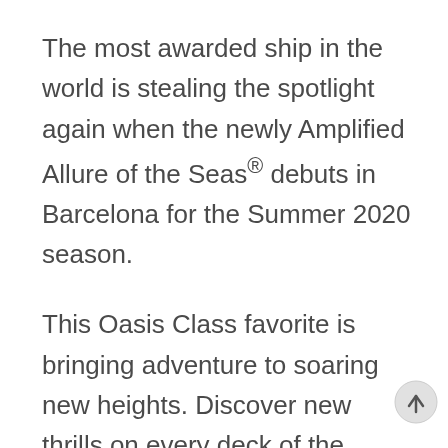The most awarded ship in the world is stealing the spotlight again when the newly Amplified Allure of the Seas® debuts in Barcelona for the Summer 2020 season.
This Oasis Class favorite is bringing adventure to soaring new heights. Discover new thrills on every deck of the Amplified Allure of the Seas®, from new slides and rides to completely reimagined spaces for kids and teens. Get down after dark with more bars than any ship out